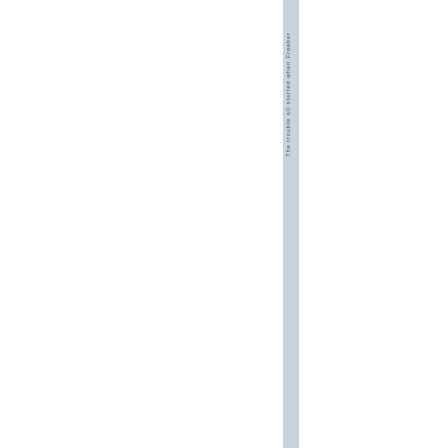. The trouble all started when Freeber